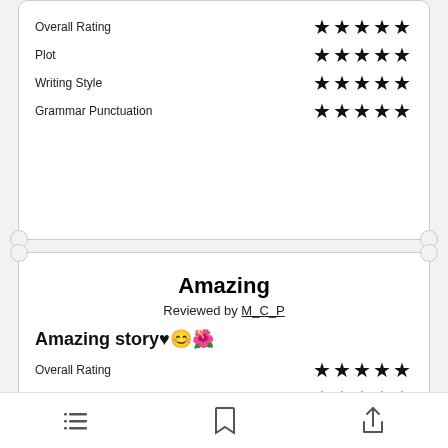| Category | Rating |
| --- | --- |
| Overall Rating | ★★★★★ |
| Plot | ★★★★★ |
| Writing Style | ★★★★★ |
| Grammar Punctuation | ★★★★★ |
Amazing
Reviewed by M_C_P
Amazing story♥😊🌺
| Category | Rating |
| --- | --- |
| Overall Rating | ★★★★★ |
| Plot | ★★★★★ |
| Writing Style | ★★★★★ |
| Grammar Punctuation | ★★★★★ |
Navigation icons: list, bookmark, share